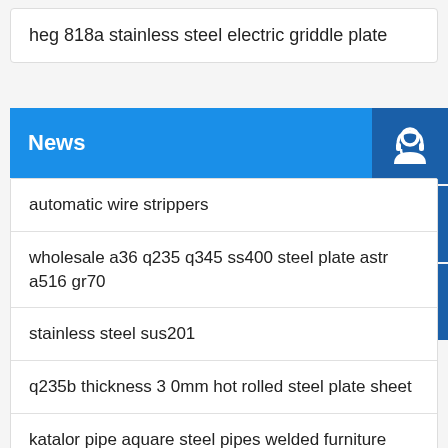heg 818a stainless steel electric griddle plate
News
automatic wire strippers
wholesale a36 q235 q345 ss400 steel plate astr a516 gr70
stainless steel sus201
q235b thickness 3 0mm hot rolled steel plate sheet
katalor pipe aquare steel pipes welded furniture
low cost astm a588 a588m weather steel corten plate